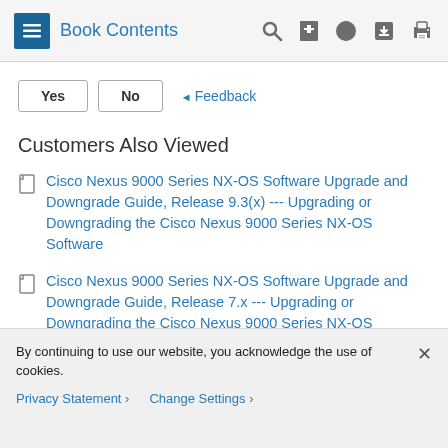Book Contents
Yes   No   ◄ Feedback
Customers Also Viewed
Cisco Nexus 9000 Series NX-OS Software Upgrade and Downgrade Guide, Release 9.3(x) --- Upgrading or Downgrading the Cisco Nexus 9000 Series NX-OS Software
Cisco Nexus 9000 Series NX-OS Software Upgrade and Downgrade Guide, Release 7.x --- Upgrading or Downgrading the Cisco Nexus 9000 Series NX-OS Software
By continuing to use our website, you acknowledge the use of cookies.
Privacy Statement >   Change Settings >